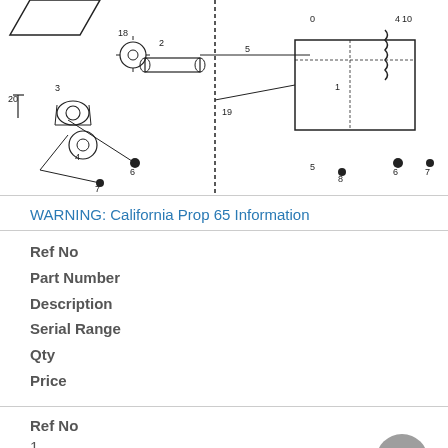[Figure (engineering-diagram): Exploded parts diagram of a mechanical assembly showing numbered components including gears, shafts, sprockets, chain drive, and a fuel tank. Parts are labeled with numbers 1-20.]
WARNING: California Prop 65 Information
Ref No
Part Number
Description
Serial Range
Qty
Price
Ref No
1
Part Number